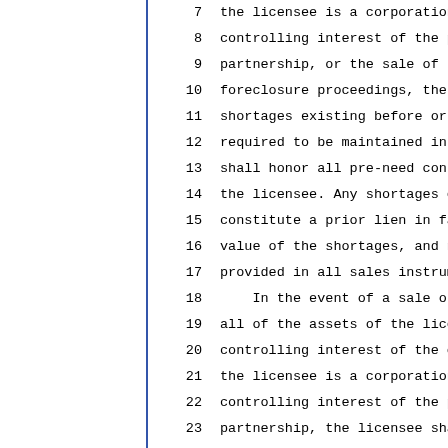7   the licensee is a corporation,
8   controlling interest of the par
9   partnership, or the sale of the
10  foreclosure proceedings, the pu
11  shortages existing before or af
12  required to be maintained in a
13  shall honor all pre-need contra
14  the licensee. Any shortages exi
15  constitute a prior lien in favo
16  value of the shortages, and not
17  provided in all sales instrumen
18      In the event of a sale or t
19  all of the assets of the licens
20  controlling interest of the cor
21  the licensee is a corporation,
22  controlling interest of the par
23  partnership, the licensee shall
24  sale or transfer, notify the Co
25  pending date of sale or transfe